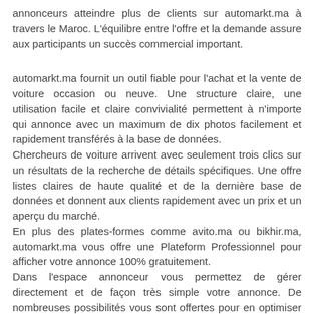annonceurs atteindre plus de clients sur automarkt.ma à travers le Maroc. L'équilibre entre l'offre et la demande assure aux participants un succès commercial important.
automarkt.ma fournit un outil fiable pour l'achat et la vente de voiture occasion ou neuve. Une structure claire, une utilisation facile et claire convivialité permettent à n'importe qui annonce avec un maximum de dix photos facilement et rapidement transférés à la base de données. Chercheurs de voiture arrivent avec seulement trois clics sur un résultats de la recherche de détails spécifiques. Une offre listes claires de haute qualité et de la dernière base de données et donnent aux clients rapidement avec un prix et un aperçu du marché. En plus des plates-formes comme avito.ma ou bikhir.ma, automarkt.ma vous offre une Plateform Professionnel pour afficher votre annonce 100% gratuitement. Dans l'espace annonceur vous permettez de gérer directement et de façon très simple votre annonce. De nombreuses possibilités vous sont offertes pour en optimiser l'impact :